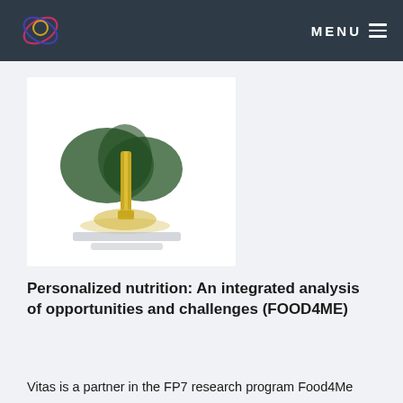MENU
[Figure (logo): Food4Me project logo: stylized tree with dark green foliage and golden trunk/roots on white background, with text below]
Personalized nutrition: An integrated analysis of opportunities and challenges (FOOD4ME)
Vitas is a partner in the FP7 research program Food4Me